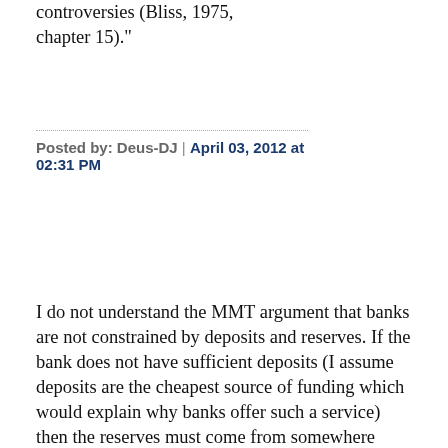controversies (Bliss, 1975, chapter 15)."
Posted by: Deus-DJ | April 03, 2012 at 02:31 PM
I do not understand the MMT argument that banks are not constrained by deposits and reserves. If the bank does not have sufficient deposits (I assume deposits are the cheapest source of funding which would explain why banks offer such a service) then the reserves must come from somewhere (whether it be from other banks or the Fed). If the cost of that funding